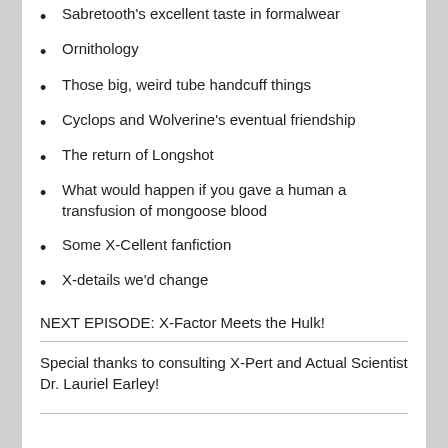Sabretooth's excellent taste in formalwear
Ornithology
Those big, weird tube handcuff things
Cyclops and Wolverine's eventual friendship
The return of Longshot
What would happen if you gave a human a transfusion of mongoose blood
Some X-Cellent fanfiction
X-details we'd change
NEXT EPISODE: X-Factor Meets the Hulk!
Special thanks to consulting X-Pert and Actual Scientist Dr. Lauriel Earley!